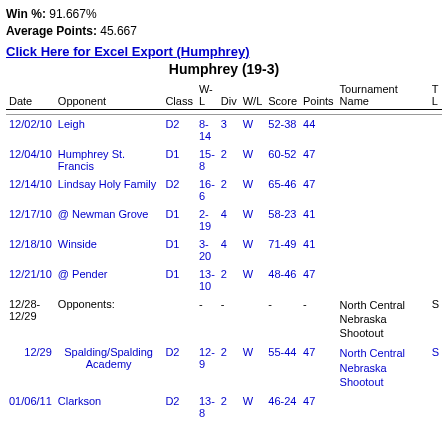Win %: 91.667%
Average Points: 45.667
Click Here for Excel Export (Humphrey)
Humphrey (19-3)
| Date | Opponent | Class | W-L | Div | W/L | Score | Points | Tournament Name | T L |
| --- | --- | --- | --- | --- | --- | --- | --- | --- | --- |
| 12/02/10 | Leigh | D2 | 8-14 | 3 | W | 52-38 | 44 |  |  |
| 12/04/10 | Humphrey St. Francis | D1 | 15-8 | 2 | W | 60-52 | 47 |  |  |
| 12/14/10 | Lindsay Holy Family | D2 | 16-6 | 2 | W | 65-46 | 47 |  |  |
| 12/17/10 | @ Newman Grove | D1 | 2-19 | 4 | W | 58-23 | 41 |  |  |
| 12/18/10 | Winside | D1 | 3-20 | 4 | W | 71-49 | 41 |  |  |
| 12/21/10 | @ Pender | D1 | 13-10 | 2 | W | 48-46 | 47 |  |  |
| 12/28-12/29 | Opponents: |  | - | - |  | - | - | North Central Nebraska Shootout | S |
| 12/29 | Spalding/Spalding Academy | D2 | 12-9 | 2 | W | 55-44 | 47 | North Central Nebraska Shootout | S |
| 01/06/11 | Clarkson | D2 | 13-8 | 2 | W | 46-24 | 47 |  |  |